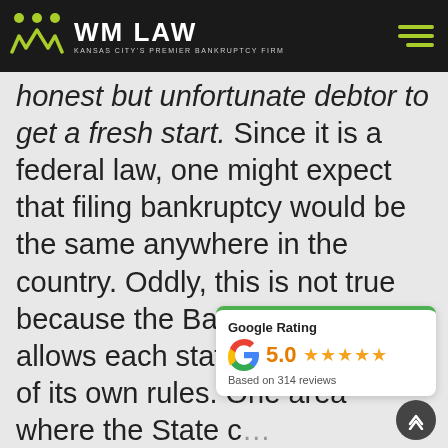WM LAW — Kansas City's Premier Bankruptcy Firm
honest but unfortunate debtor to get a fresh start.  Since it is a federal law, one might expect that filing bankruptcy would be the same anywhere in the country.  Oddly, this is not true because the Bankruptcy Code allows each state to apply some of its own rules.  One area where the State c… Bankruptcy laws i… property.
[Figure (infographic): Google Rating widget showing 5.0 stars based on 314 reviews]